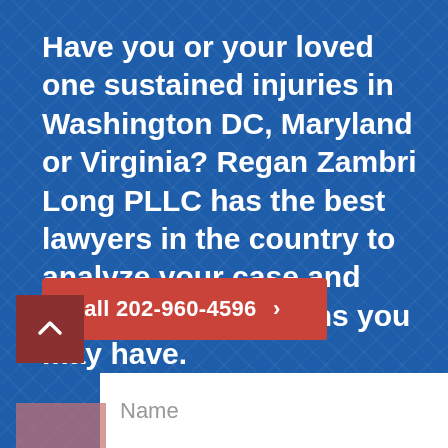Have you or your loved one sustained injuries in Washington DC, Maryland or Virginia? Regan Zambri Long PLLC has the best lawyers in the country to analyze your case and answer the questions you may have.
Call 202-960-4596 >
Name